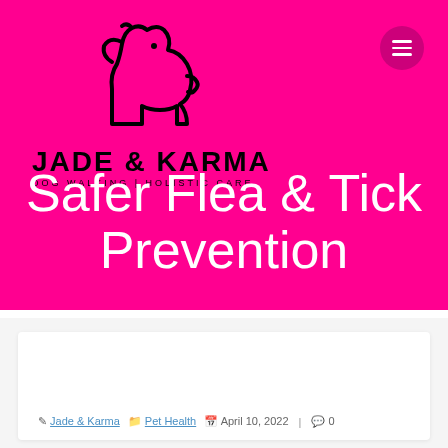[Figure (logo): Jade & Karma dog walking holistic care logo with dog outline silhouette on hot pink background]
Safer Flea & Tick Prevention
Jade & Karma | Pet Health | April 10, 2022 | 0 comments